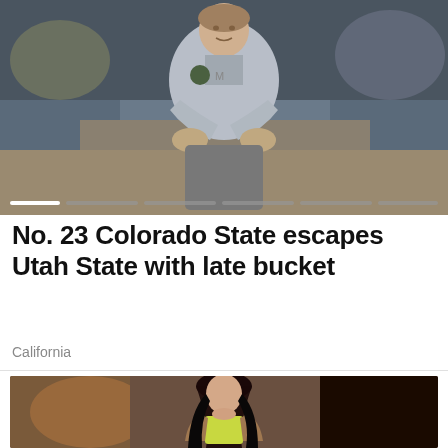[Figure (photo): A basketball coach wearing a gray Under Armour jacket with Colorado State logo, standing with hands on hips on the sideline, crowd visible in background]
No. 23 Colorado State escapes Utah State with late bucket
California
[Figure (photo): A woman with long black hair wearing a yellow/green crop top and brown jacket, photographed indoors]